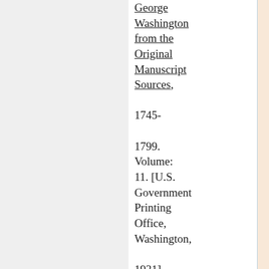George Washington from the Original Manuscript Sources, 1745-1799. Volume: 11. [U.S. Government Printing Office, Washington, 1931]. page 348. The text